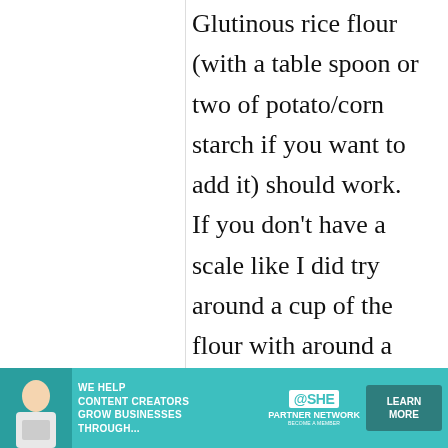Glutinous rice flour (with a table spoon or two of potato/corn starch if you want to add it) should work. If you don't have a scale like I did try around a cup of the flour with around a cup of the tofu and mix them together.
[Figure (other): Advertisement banner for SHE Media Partner Network: 'We help content creators grow businesses through...' with Learn More button]